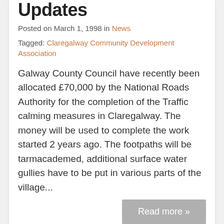Updates
Posted on March 1, 1998 in News
Tagged: Claregalway Community Development Association
Galway County Council have recently been allocated £70,000 by the National Roads Authority for the completion of the Traffic calming measures in Claregalway. The money will be used to complete the work started 2 years ago. The footpaths will be tarmacademed, additional surface water gullies have to be put in various parts of the village...
Read more »
Claregalway Festival